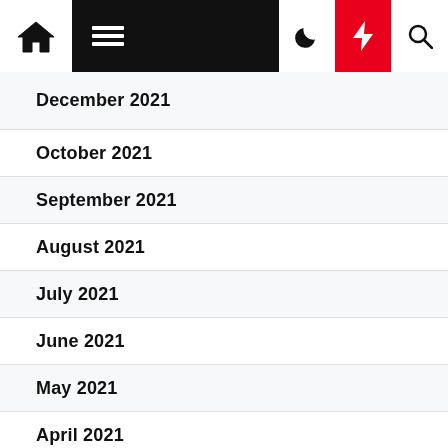Navigation bar with home, menu, moon, bolt, search icons
December 2021
October 2021
September 2021
August 2021
July 2021
June 2021
May 2021
April 2021
March 2021